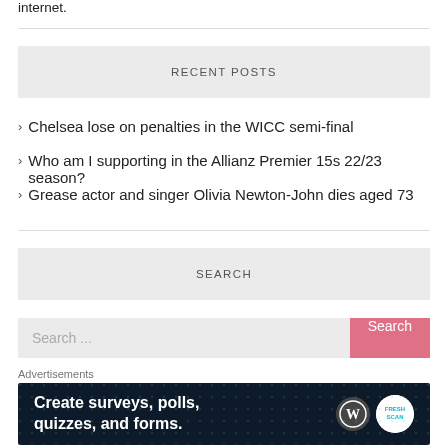internet.
RECENT POSTS
Chelsea lose on penalties in the WICC semi-final
Who am I supporting in the Allianz Premier 15s 22/23 season?
Grease actor and singer Olivia Newton-John dies aged 73
SEARCH
Search ...
Advertisements
[Figure (screenshot): Advertisement banner: Create surveys, polls, quizzes, and forms. WordPress and SurveyMonkey logos on dark navy background with dot pattern.]